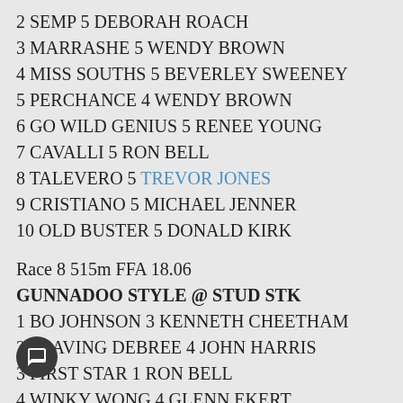2 SEMP 5 DEBORAH ROACH
3 MARRASHE 5 WENDY BROWN
4 MISS SOUTHS 5 BEVERLEY SWEENEY
5 PERCHANCE 4 WENDY BROWN
6 GO WILD GENIUS 5 RENEE YOUNG
7 CAVALLI 5 RON BELL
8 TALEVERO 5 TREVOR JONES
9 CRISTIANO 5 MICHAEL JENNER
10 OLD BUSTER 5 DONALD KIRK
Race 8 515m FFA 18.06
GUNNADOO STYLE @ STUD STK
1 BO JOHNSON 3 KENNETH CHEETHAM
2 LEAVING DEBREE 4 JOHN HARRIS
3 FIRST STAR 1 RON BELL
4 WINKY WONG 4 GLENN EKERT
5 KING A SPLASH 2 JOHN MUNRO
6 BLUE TONGUE 4 PETER TOBIN